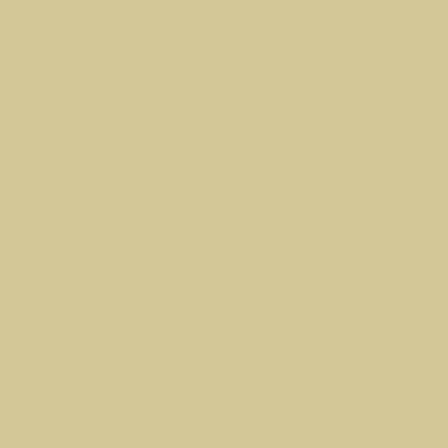115. Annalisa Crawford - Wake up, eat, write, sleep
117. Reflections Posting
119. Empty Nest Insider
121. Matthew MacNish @ The QQQE
123. Amalie Berlin -- A to Z Reflectionationating
125. The Other Side
127. The Story Factrory Reading Zone
129. its too bad there are only 26 lette...
131. Jemi Fraser
133. Spunky L. Diane Wolfe
135. Heather M. Gardner
137. LIFE AT TRACEY SPEED
139. AZ reflections at Drama, Dice and Damson
141. Let us reflect. . .
143. My First Book
145. Magical 27
147. My Life as Lynn Proctor
149. Crazy California Claire
151. Whatever
153. Jen Chandler